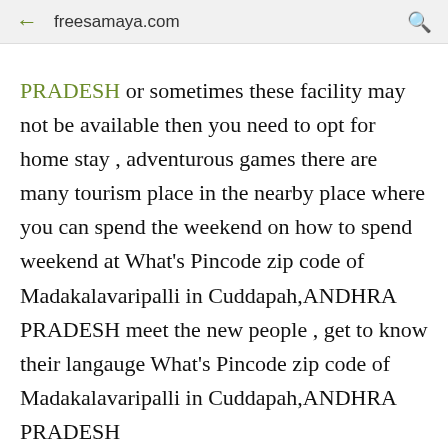freesamaya.com
PRADESH or sometimes these facility may not be available then you need to opt for home stay , adventurous games there are many tourism place in the nearby place where you can spend the weekend on how to spend weekend at What's Pincode zip code of Madakalavaripalli in Cuddapah,ANDHRA PRADESH meet the new people , get to know their langauge What's Pincode zip code of Madakalavaripalli in Cuddapah,ANDHRA PRADESH
ANDHRA PRADESH PINCODE LIST
WHAT'S PINCODE ZIP CODE OF MADAKALAVARIPALLI IN CUDDAPAH